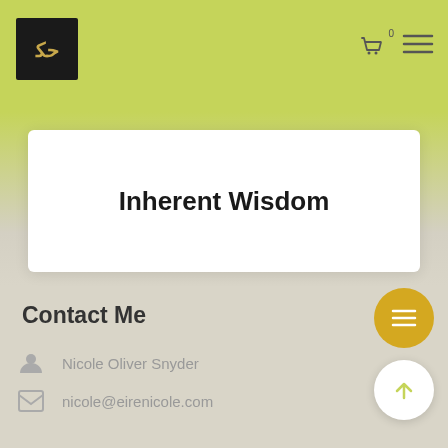Inherent Wisdom — site header with logo and navigation icons
Inherent Wisdom
Contact Me
Nicole Oliver Snyder
nicole@eirenicole.com